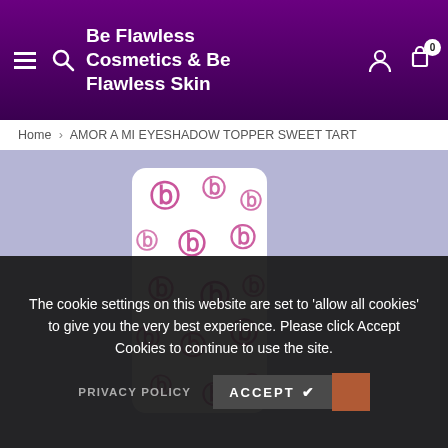Be Flawless Cosmetics & Be Flawless Skin
Home > AMOR A MI EYESHADOW TOPPER SWEET TART
[Figure (photo): White cylindrical cosmetic product container with repeating purple/magenta Be Flawless logo pattern on a lavender/periwinkle background]
The cookie settings on this website are set to 'allow all cookies' to give you the very best experience. Please click Accept Cookies to continue to use the site.
PRIVACY POLICY   ACCEPT ✔